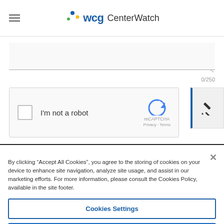[Figure (logo): WCG CenterWatch logo with colorful dots above WCG text]
[Figure (screenshot): Textarea input field with resize handle and 0/250 character count]
[Figure (screenshot): reCAPTCHA widget with checkbox labeled I'm not a robot]
[Figure (screenshot): Floating pencil/edit icon button on right side]
By clicking “Accept All Cookies”, you agree to the storing of cookies on your device to enhance site navigation, analyze site usage, and assist in our marketing efforts. For more information, please consult the Cookies Policy, available in the site footer.
Cookies Settings
Reject All
Accept All Cookies